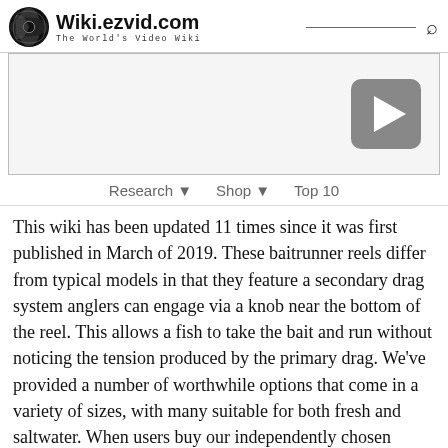Wiki.ezvid.com — The World's Video Wiki
[Figure (screenshot): Video player placeholder with play button on right side]
Research ▼  Shop ▼  Top 10
This wiki has been updated 11 times since it was first published in March of 2019. These baitrunner reels differ from typical models in that they feature a secondary drag system anglers can engage via a knob near the bottom of the reel. This allows a fish to take the bait and run without noticing the tension produced by the primary drag. We've provided a number of worthwhile options that come in a variety of sizes, with many suitable for both fresh and saltwater. When users buy our independently chosen